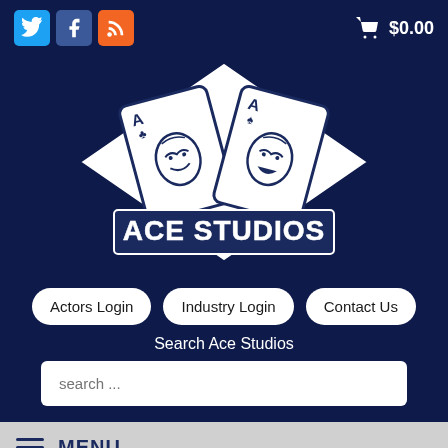[Figure (logo): Ace Studios logo with playing cards (two Aces with drama/comedy masks) over a diamond shape, with 'ACE STUDIOS' text in bold outlined lettering]
$0.00
Actors Login
Industry Login
Contact Us
Search Ace Studios
search ...
MENU
Allen
calendar